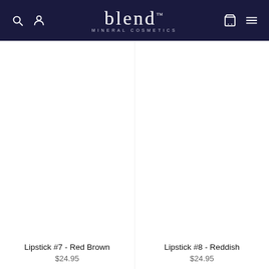blend MINERAL COSMETICS — navigation bar with search, account, cart, and menu icons
[Figure (photo): Product image area for Lipstick #7 - Red Brown (white/blank area)]
Lipstick #7 - Red Brown
$24.95
[Figure (photo): Product image area for Lipstick #8 - Reddish (white/blank area)]
Lipstick #8 - Reddish
$24.95